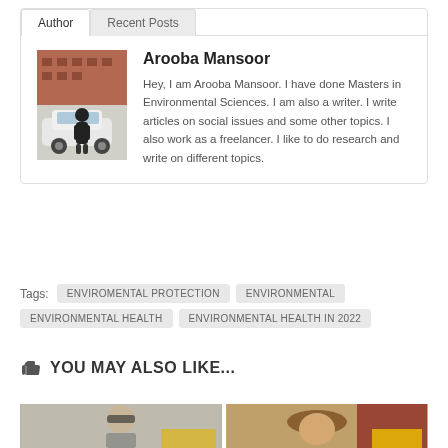Author | Recent Posts
Arooba Mansoor
Hey, I am Arooba Mansoor. I have done Masters in Environmental Sciences. I am also a writer. I write articles on social issues and some other topics. I also work as a freelancer. I like to do research and write on different topics.
Tags: ENVIROMENTAL PROTECTION  ENVIRONMENTAL  ENVIRONMENTAL HEALTH  ENVIRONMENTAL HEALTH IN 2022
YOU MAY ALSO LIKE...
[Figure (photo): Two thumbnail images at the bottom of the page showing partial views of people]